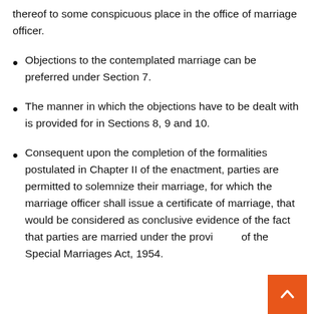thereof to some conspicuous place in the office of marriage officer.
Objections to the contemplated marriage can be preferred under Section 7.
The manner in which the objections have to be dealt with is provided for in Sections 8, 9 and 10.
Consequent upon the completion of the formalities postulated in Chapter II of the enactment, parties are permitted to solemnize their marriage, for which the marriage officer shall issue a certificate of marriage, that would be considered as conclusive evidence of the fact that parties are married under the provisions of the Special Marriages Act, 1954.